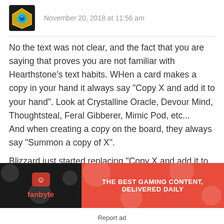November 20, 2018 at 11:56 am
No the text was not clear, and the fact that you are saying that proves you are not familiar with Hearthstone’s text habits. WHen a card makes a copy in your hand it always say “Copy X and add it to your hand”. Look at Crystalline Oracle, Devour Mind, Thoughtsteal, Feral Gibberer, Mimic Pod, etc...
And when creating a copy on the board, they always say “Summon a copy of X”.

Blizzard just started replacing “Copy X and add it to your hand” with “Copy X” and again and again proving how atrociously respectful they
[Figure (other): Fanbyte advertisement banner: black and red banner with fanbyte logo and text THE BEST GAMING CONTENT, DELIVERED DAILY]
Report ad